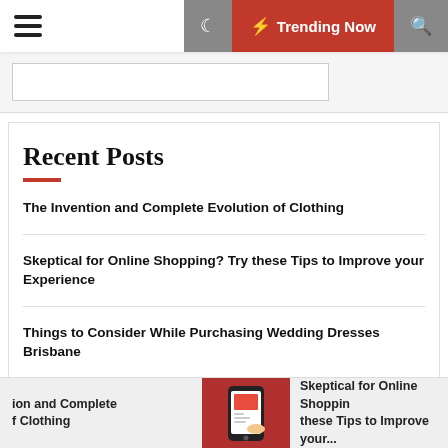Trending Now
Recent Posts
The Invention and Complete Evolution of Clothing
Skeptical for Online Shopping? Try these Tips to Improve your Experience
Things to Consider While Purchasing Wedding Dresses Brisbane
Types Of Combos You Can Rest Upon To Surprise Someone Beloved
ion and Complete f Clothing | Skeptical for Online Shoppin these Tips to Improve your...